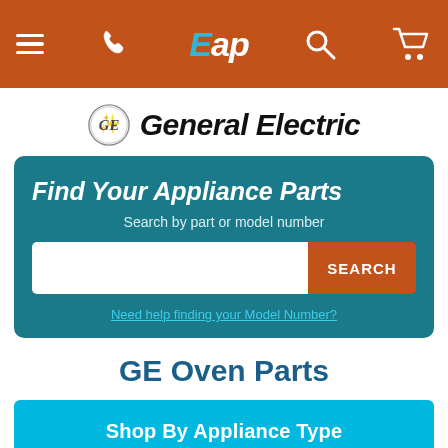Eap navigation bar with menu, phone, logo, search, and cart icons
[Figure (logo): General Electric logo with GE circle emblem and italic General Electric text]
Find Your Appliance Parts
Search by part or model number
Need help finding your Model Number?
GE Oven Parts
Shop By Appliance Type